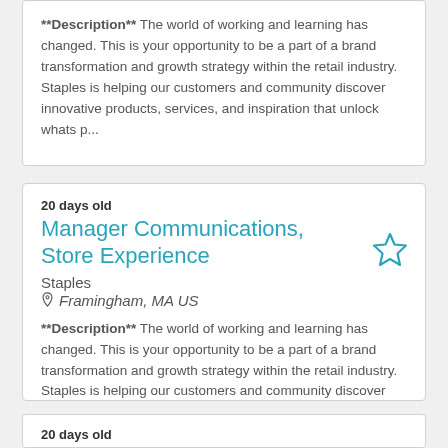**Description** The world of working and learning has changed. This is your opportunity to be a part of a brand transformation and growth strategy within the retail industry. Staples is helping our customers and community discover innovative products, services, and inspiration that unlock whats p...
20 days old
Manager Communications, Store Experience
Staples
Framingham, MA US
**Description** The world of working and learning has changed. This is your opportunity to be a part of a brand transformation and growth strategy within the retail industry. Staples is helping our customers and community discover innovative products, services, and inspiration that unlock whats p...
20 days old